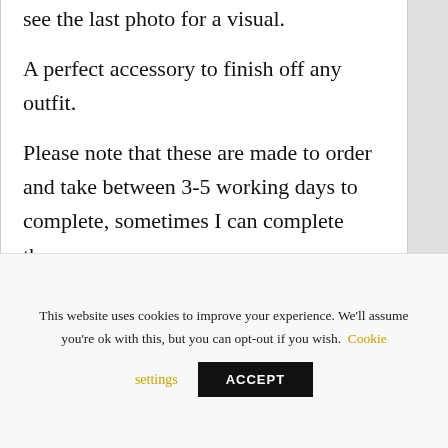see the last photo for a visual.
A perfect accessory to finish off any outfit.
Please note that these are made to order and take between 3-5 working days to complete, sometimes I can complete them
This website uses cookies to improve your experience. We'll assume you're ok with this, but you can opt-out if you wish. Cookie settings ACCEPT